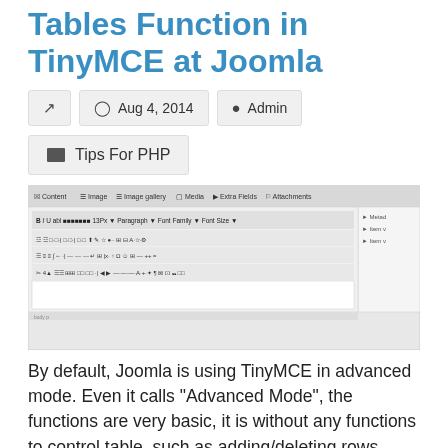Tables Function in TinyMCE at Joomla
Aug 4, 2014 | Admin | Tips For PHP
[Figure (screenshot): Screenshot of TinyMCE editor toolbar interface in Joomla advanced mode, showing multiple rows of editing icons and toolbar options including Content, Image, Image gallery, Media, Extra Fields, Attachments tabs.]
By default, Joomla is using TinyMCE in advanced mode. Even it calls "Advanced Mode", the functions are very basic, it is without any functions to control table, such as adding/deleting rows.